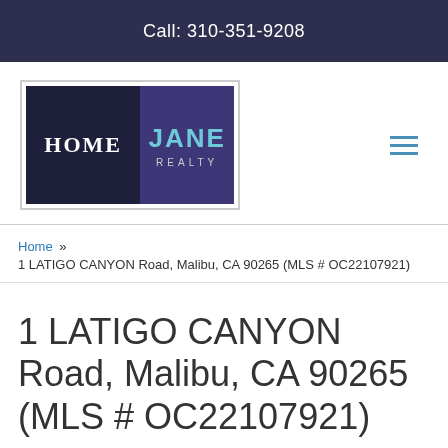Call: 310-351-9208
[Figure (logo): Home Jane Realty logo — dark navy background with 'HOME' in white serif font on the left panel and 'JANE' in teal/cyan bold sans-serif on the right purple panel with 'REALTY' in small caps below]
Home » 1 LATIGO CANYON Road, Malibu, CA 90265 (MLS # OC22107921)
1 LATIGO CANYON Road, Malibu, CA 90265 (MLS # OC22107921)